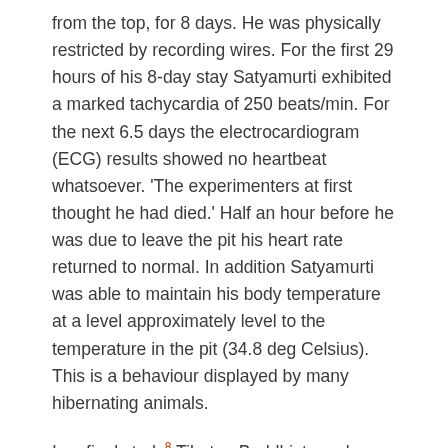from the top, for 8 days. He was physically restricted by recording wires. For the first 29 hours of his 8-day stay Satyamurti exhibited a marked tachycardia of 250 beats/min. For the next 6.5 days the electrocardiogram (ECG) results showed no heartbeat whatsoever. 'The experimenters at first thought he had died.' Half an hour before he was due to leave the pit his heart rate returned to normal. In addition Satyamurti was able to maintain his body temperature at a level approximately level to the temperature in the pit (34.8 deg Celsius). This is a behaviour displayed by many hibernating animals.
In a final study[8] Tibetan Buddhist monks were found to be able to raise their resting metabolism (VO2) up as much as 61%, and lower it down as much as 64%. This reduction from rest was the largest ever recorded.